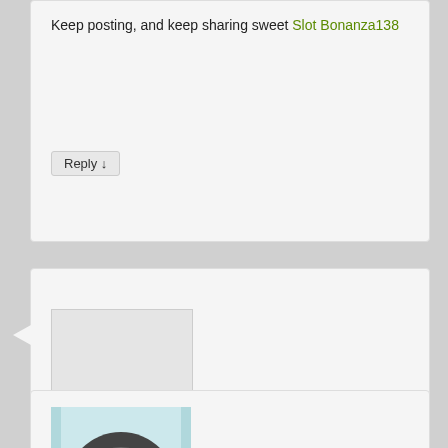Keep posting, and keep sharing sweet Slot Bonanza138
Reply ↓
[Figure (photo): Avatar placeholder image (grey rectangle)]
CandiceShaw on May 19, 2022 at 10:55 pm said:
Your article is very good descargar spotify premium apk is really the best music player today
Reply ↓
[Figure (photo): Product image showing Detergent Powder Formula with teal/turquoise packaging]